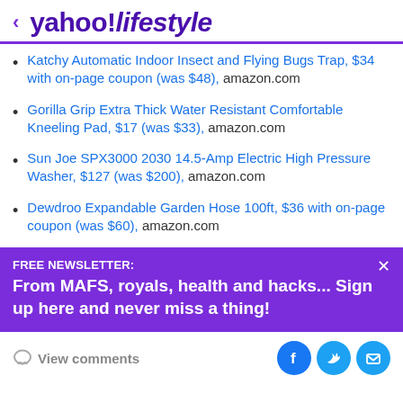< yahoo!lifestyle
Katchy Automatic Indoor Insect and Flying Bugs Trap, $34 with on-page coupon (was $48), amazon.com
Gorilla Grip Extra Thick Water Resistant Comfortable Kneeling Pad, $17 (was $33), amazon.com
Sun Joe SPX3000 2030 14.5-Amp Electric High Pressure Washer, $127 (was $200), amazon.com
Dewdroo Expandable Garden Hose 100ft, $36 with on-page coupon (was $60), amazon.com
FREE NEWSLETTER: From MAFS, royals, health and hacks... Sign up here and never miss a thing!
View comments